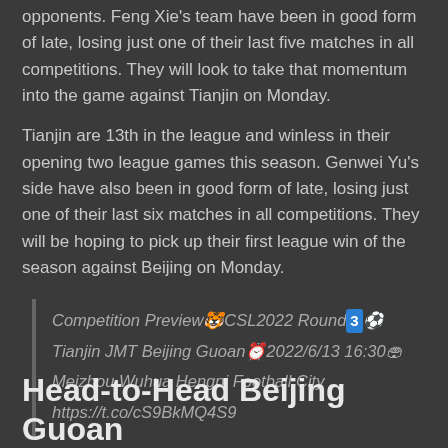opponents. Feng Xie's team have been in good form of late, losing just one of their last five matches in all competitions. They will look to take that momentum into the game against Tianjin on Monday.
Tianjin are 13th in the league and winless in their opening two league games this season. Genwei Yu's side have also been in good form of late, losing just one of their last six matches in all competitions. They will be hoping to pick up their first league win of the season against Beijing on Monday.
Competition Preview🐯​CSL2022 Round🔵3⚽ Tianjin JMT Beijing Guoan⏰2022/6/13 16:30🏟 Meizhou Wuhua Hengpi Football City https://t.co/cS9BkMQ4S9
Both sides want to start their league campaign with a win and it will be a fight well contested.
Head-to-Head Beijing Guoan